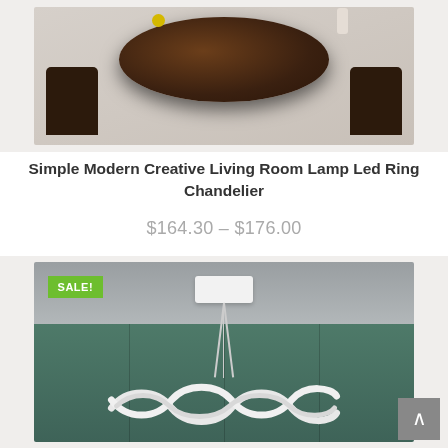[Figure (photo): Dining room scene with a dark brown circular table, chairs, and decorative items on a light gray background]
Simple Modern Creative Living Room Lamp Led Ring Chandelier
$164.30 – $176.00
[Figure (photo): A white LED chandelier with wave/ring design hanging by wires from a ceiling mount, with a green wall panel background. A green SALE! badge overlays the top left corner.]